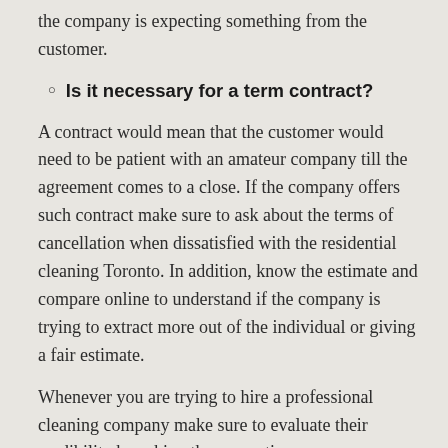the company is expecting something from the customer.
Is it necessary for a term contract?
A contract would mean that the customer would need to be patient with an amateur company till the agreement comes to a close. If the company offers such contract make sure to ask about the terms of cancellation when dissatisfied with the residential cleaning Toronto. In addition, know the estimate and compare online to understand if the company is trying to extract more out of the individual or giving a fair estimate.
Whenever you are trying to hire a professional cleaning company make sure to evaluate their credibility by asking these questions.